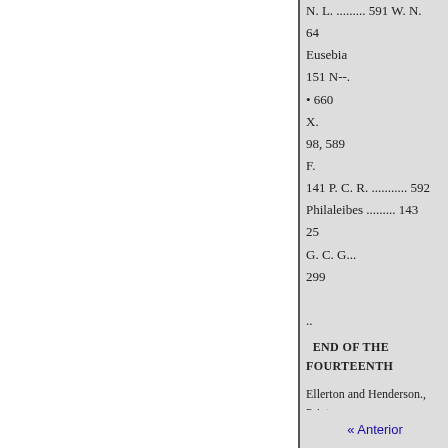N. L. .......... 591 W. N.
64
Eusebia
151 N--..
• 660
X.
98, 589
F.
141 P. C. R. ........... 592
Philaleibes ......... 143
25
G. C. G...
299
..
END OF THE FOURTEENTH
Ellerton and Henderson., Printers,
Jobpsoni's Court, London,
« Anterior